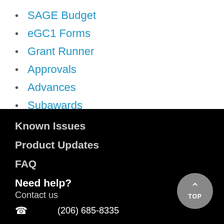SAGE Budget
eGC1 Forms
Grant Runner
Approvals
Advances
Subawards
Known Issues
Product Updates
FAQ
Need help?
Contact us
(206) 685-8335